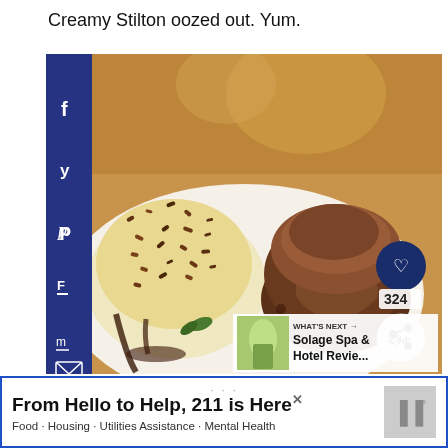Creamy Stilton oozed out. Yum.
[Figure (photo): A dessert plate with a chocolate fondant/lava cake and a scoop of ice cream covered in chocolate sprinkles, with chocolate sauce, on a white plate. Social media overlays show a heart icon with 324 likes and a share button. A 'What's Next' thumbnail shows Solage Spa & Hotel Revie...]
From Hello to Help, 211 is Here
Food · Housing · Utilities Assistance · Mental Health